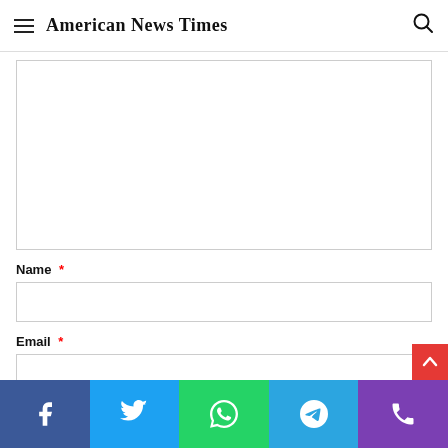American News Times
[Figure (other): Empty textarea / comment input box with border]
Name *
[Figure (other): Empty Name text input box with border]
Email *
[Figure (other): Empty Email text input box with border]
Website
[Figure (other): Empty Website text input box with border (partially visible)]
[Figure (other): Social sharing bar with Facebook, Twitter, WhatsApp, Telegram, Phone icons]